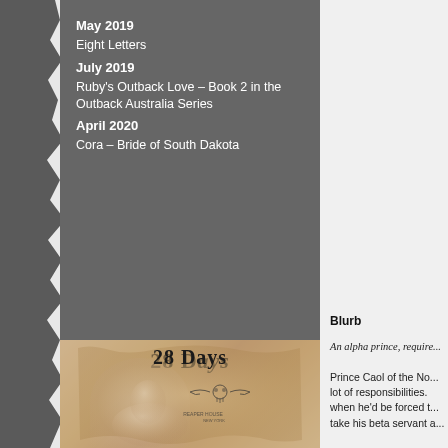May 2019
Eight Letters
July 2019
Ruby's Outback Love – Book 2 in the Outback Australia Series
April 2020
Cora – Bride of South Dakota
[Figure (illustration): Book cover for '28 Days' showing a woman with bangs in soft lighting against a parchment/torn paper background with a winged skull emblem]
Blurb
An alpha prince, require...
Prince Caol of the No... lot of responsibilities. when he'd be forced t... take his beta servant a...